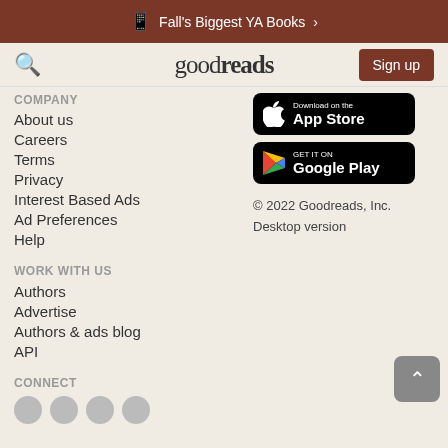Fall's Biggest YA Books >
goodreads | Sign up
COMPANY
About us
Careers
Terms
Privacy
Interest Based Ads
Ad Preferences
Help
[Figure (screenshot): Download on the App Store button (black, with Apple logo)]
[Figure (screenshot): Get it on Google Play button (black, with Google Play triangle logo)]
© 2022 Goodreads, Inc.
Desktop version
WORK WITH US
Authors
Advertise
Authors & ads blog
API
CONNECT